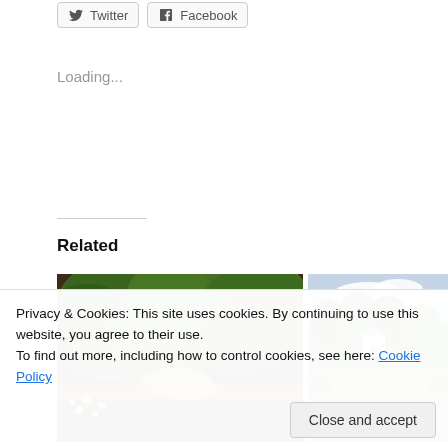[Figure (screenshot): Twitter and Facebook social share buttons at the top]
Loading...
Related
[Figure (photo): A raised garden bed with tomato plants, yellow flowers, and dark mulch soil]
[Figure (photo): Outdoor landscape with a white building and wooden fence, partially cropped]
Privacy & Cookies: This site uses cookies. By continuing to use this website, you agree to their use.
To find out more, including how to control cookies, see here: Cookie Policy
Close and accept